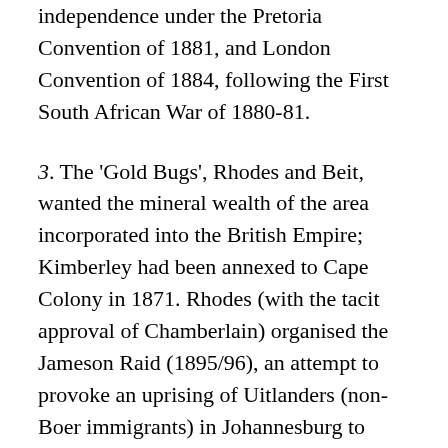independence under the Pretoria Convention of 1881, and London Convention of 1884, following the First South African War of 1880-81.
3. The 'Gold Bugs', Rhodes and Beit, wanted the mineral wealth of the area incorporated into the British Empire; Kimberley had been annexed to Cape Colony in 1871. Rhodes (with the tacit approval of Chamberlain) organised the Jameson Raid (1895/96), an attempt to provoke an uprising of Uitlanders (non-Boer immigrants) in Johannesburg to secure political rights, and thus out-vote the Boers in their own Republic. The 'raid' envisaged a three-day dash from Pisani & Mafeking, to Johannesburg before the Boers could organise to prevent it. The 'raiders' were 400 Rhodesian Police, & 120 volunteers – led by 'Dr Jim', (Leander Starr Jameson), Administrator of Rhodes' & Beit's Chartered Company (which ran Rhodesia for the